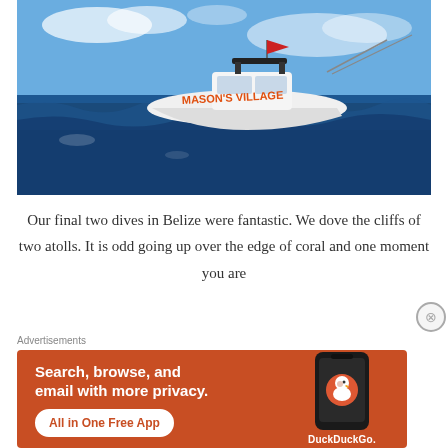[Figure (photo): A white sport fishing boat named 'MASON'S VILLAGE' on deep blue ocean water under a partly cloudy sky. The boat has a red flag and is photographed from water level.]
Our final two dives in Belize were fantastic. We dove the cliffs of two atolls. It is odd going up over the edge of coral and one moment you are
Advertisements
[Figure (screenshot): DuckDuckGo advertisement banner on orange background. Text reads: 'Search, browse, and email with more privacy. All in One Free App' with DuckDuckGo logo and phone illustration.]